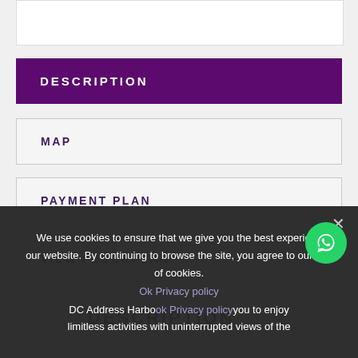[Figure (other): White content box at top of page]
DESCRIPTION
MAP
PAYMENT PLAN
VIEW FLOORPLAN
[Figure (other): White content box with description title]
DESCRIPTION
We use cookies to ensure that we give you the best experience our website. By continuing to browse the site, you agree to our use of cookies.
DC Address Harbour you to enjoy limitless activities with uninterrupted views of the